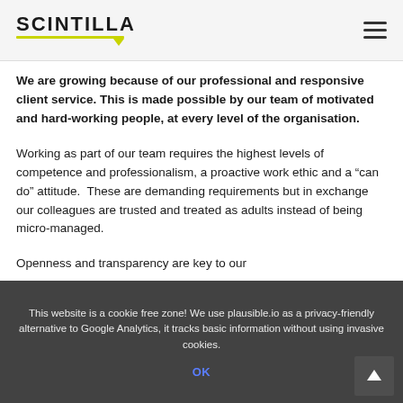SCINTILLA
We are growing because of our professional and responsive client service. This is made possible by our team of motivated and hard-working people, at every level of the organisation.
Working as part of our team requires the highest levels of competence and professionalism, a proactive work ethic and a “can do” attitude.  These are demanding requirements but in exchange our colleagues are trusted and treated as adults instead of being micro-managed.
Openness and transparency are key to our
This website is a cookie free zone! We use plausible.io as a privacy-friendly alternative to Google Analytics, it tracks basic information without using invasive cookies.